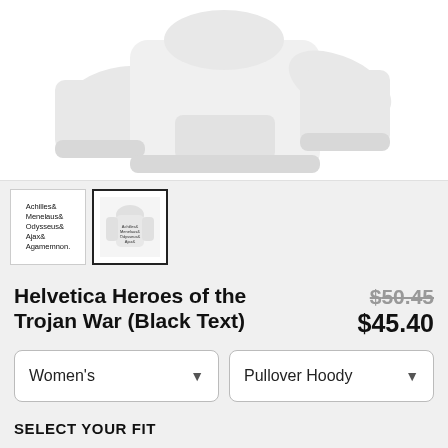[Figure (photo): White pullover hoodie product photo showing front and back views on a white background]
[Figure (photo): Thumbnail 1: Text graphic showing Achilles& Menelaus& Odysseus& Ajax& Agamemnon on white background]
[Figure (photo): Thumbnail 2: Back view of white hoodie with text graphic, selected (bold border)]
Helvetica Heroes of the Trojan War (Black Text)
$50.45 $45.40
Women's
Pullover Hoody
SELECT YOUR FIT